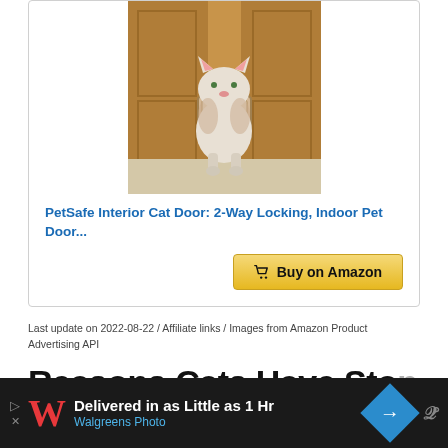[Figure (photo): A cat standing through a pet door in a wooden cabinet/wall installation. Cat is fluffy, white and tabby colored.]
PetSafe Interior Cat Door: 2-Way Locking, Indoor Pet Door...
[Figure (other): Buy on Amazon button with shopping cart icon]
Last update on 2022-08-22 / Affiliate links / Images from Amazon Product Advertising API
Reasons Cats Have Stopped...
[Figure (other): Walgreens Photo advertisement bar: Delivered in as Little as 1 Hr]